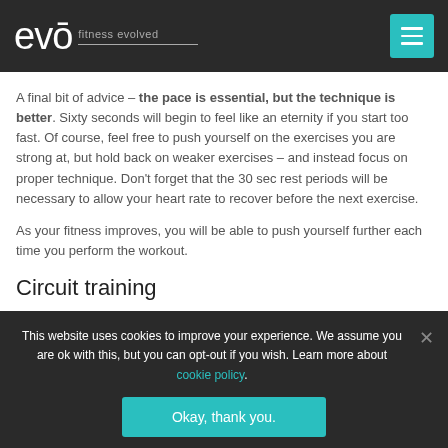evo fitness evolved
A final bit of advice – the pace is essential, but the technique is better. Sixty seconds will begin to feel like an eternity if you start too fast. Of course, feel free to push yourself on the exercises you are strong at, but hold back on weaker exercises – and instead focus on proper technique. Don't forget that the 30 sec rest periods will be necessary to allow your heart rate to recover before the next exercise.
As your fitness improves, you will be able to push yourself further each time you perform the workout.
Circuit training
This website uses cookies to improve your experience. We assume you are ok with this, but you can opt-out if you wish. Learn more about cookie policy.
Okay, thank you.